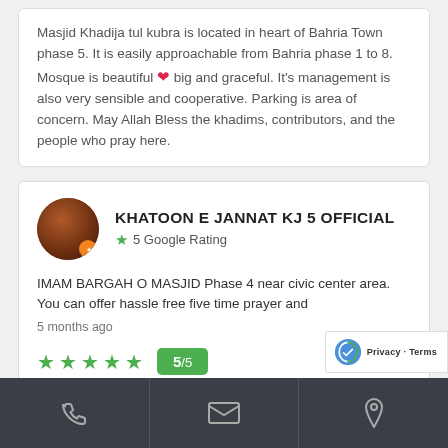Masjid Khadija tul kubra is located in heart of Bahria Town phase 5. It is easily approachable from Bahria phase 1 to 8. Mosque is beautiful ❤ big and graceful. It's management is also very sensible and cooperative. Parking is area of concern. May Allah Bless the khadims, contributors, and the people who pray here.
KHATOON E JANNAT KJ 5 OFFICIAL
5 Google Rating
IMAM BARGAH O MASJID Phase 4 near civic center area. You can offer hassle free five time prayer and
5 months ago
5/5
phone | email | location